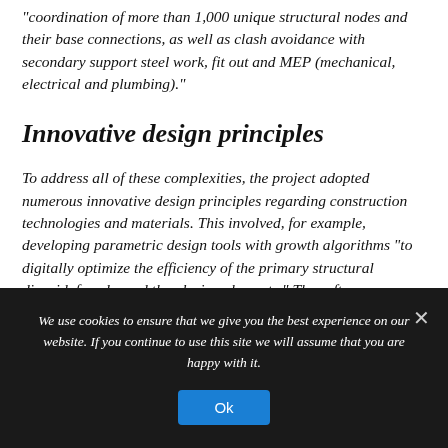“coordination of more than 1,000 unique structural nodes and their base connections, as well as clash avoidance with secondary support steel work, fit out and MEP (mechanical, electrical and plumbing).”
Innovative design principles
To address all of these complexities, the project adopted numerous innovative design principles regarding construction technologies and materials. This involved, for example, developing parametric design tools with growth algorithms “to digitally optimize the efficiency of the primary structural diagrid, façade, and the glazing elements.” The software included
We use cookies to ensure that we give you the best experience on our website. If you continue to use this site we will assume that you are happy with it.